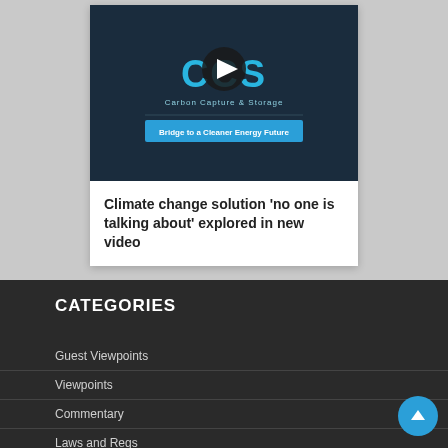[Figure (screenshot): CCS Carbon Capture & Storage - Bridge to a Cleaner Energy Future thumbnail with play button]
Climate change solution 'no one is talking about' explored in new video
CATEGORIES
Guest Viewpoints
Viewpoints
Commentary
Laws and Regs